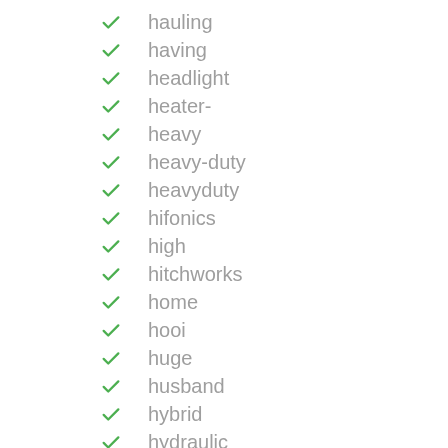hauling
having
headlight
heater-
heavy
heavy-duty
heavyduty
hifonics
high
hitchworks
home
hooi
huge
husband
hybrid
hydraulic
idiot
inch